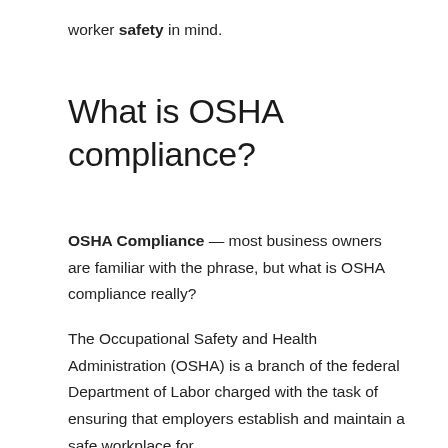worker safety in mind.
What is OSHA compliance?
OSHA Compliance — most business owners are familiar with the phrase, but what is OSHA compliance really?
The Occupational Safety and Health Administration (OSHA) is a branch of the federal Department of Labor charged with the task of ensuring that employers establish and maintain a safe workplace for